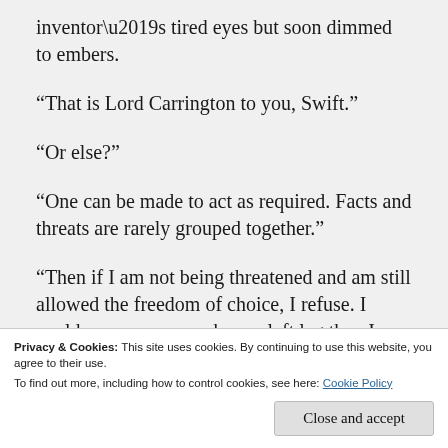inventor’s tired eyes but soon dimmed to embers.
“That is Lord Carrington to you, Swift.”
“Or else?”
“One can be made to act as required. Facts and threats are rarely grouped together.”
“Then if I am not being threatened and am still allowed the freedom of choice, I refuse. I could no sooner unmake my left leg than I could my children.”
Privacy & Cookies: This site uses cookies. By continuing to use this website, you agree to their use.
To find out more, including how to control cookies, see here: Cookie Policy
Close and accept
attention, could not, at any number of other things,